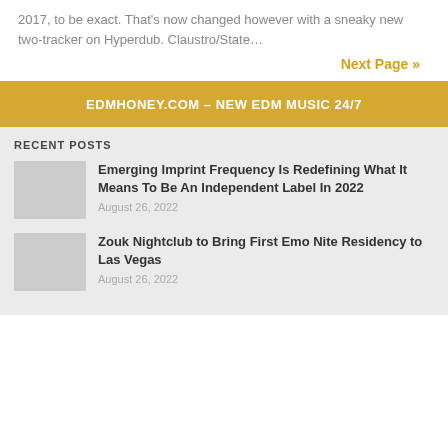2017, to be exact. That's now changed however with a sneaky new two-tracker on Hyperdub. Claustro/State…
Next Page »
EDMHONEY.COM – NEW EDM MUSIC 24/7
RECENT POSTS
Emerging Imprint Frequency Is Redefining What It Means To Be An Independent Label In 2022
August 26, 2022
Zouk Nightclub to Bring First Emo Nite Residency to Las Vegas
August 26, 2022